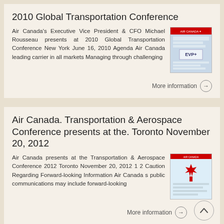2010 Global Transportation Conference
Air Canada's Executive Vice President & CFO Michael Rousseau presents at 2010 Global Transportation Conference New York June 16, 2010 Agenda Air Canada leading carrier in all markets Managing through challenging
[Figure (illustration): Air Canada presentation slide thumbnail showing EVP text and branding]
More information →
Air Canada. Transportation & Aerospace Conference presents at the. Toronto November 20, 2012
Air Canada presents at the Transportation & Aerospace Conference 2012 Toronto November 20, 2012 1 2 Caution Regarding Forward-looking Information Air Canada s public communications may include forward-looking
[Figure (illustration): Air Canada presentation slide thumbnail showing maple leaf branding]
More information →